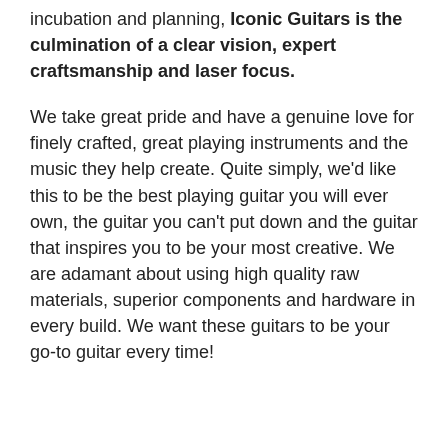incubation and planning, Iconic Guitars is the culmination of a clear vision, expert craftsmanship and laser focus.
We take great pride and have a genuine love for finely crafted, great playing instruments and the music they help create. Quite simply, we'd like this to be the best playing guitar you will ever own, the guitar you can't put down and the guitar that inspires you to be your most creative. We are adamant about using high quality raw materials, superior components and hardware in every build. We want these guitars to be your go-to guitar every time!